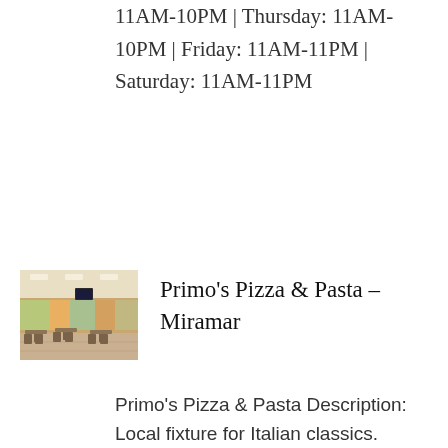11AM-10PM | Thursday: 11AM-10PM | Friday: 11AM-11PM | Saturday: 11AM-11PM
Primo’s Pizza & Pasta – Miramar
[Figure (photo): Interior of Primo's Pizza & Pasta restaurant showing dining area with tables, chairs, and warm lighting]
Primo’s Pizza & Pasta Description: Local fixture for Italian classics. Neighborhood standby for homestyle Italian recipes served in cozy, kid-friendly accommodations